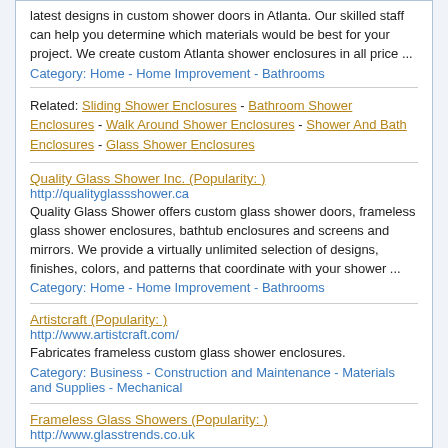latest designs in custom shower doors in Atlanta. Our skilled staff can help you determine which materials would be best for your project. We create custom Atlanta shower enclosures in all price ...
Category:   Home - Home Improvement - Bathrooms
Related: Sliding Shower Enclosures - Bathroom Shower Enclosures - Walk Around Shower Enclosures - Shower And Bath Enclosures - Glass Shower Enclosures
Quality Glass Shower Inc. (Popularity: )
http://qualityglassshower.ca
Quality Glass Shower offers custom glass shower doors, frameless glass shower enclosures, bathtub enclosures and screens and mirrors. We provide a virtually unlimited selection of designs, finishes, colors, and patterns that coordinate with your shower ...
Category:   Home - Home Improvement - Bathrooms
Artistcraft (Popularity: )
http://www.artistcraft.com/
Fabricates frameless custom glass shower enclosures.
Category:   Business - Construction and Maintenance - Materials and Supplies - Mechanical
Frameless Glass Showers (Popularity: )
http://www.glasstrends.co.uk
Glasstrends Frameless Glass Showers and Doors...